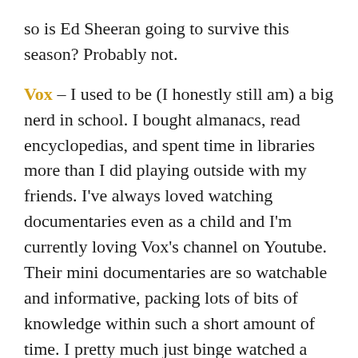so is Ed Sheeran going to survive this season? Probably not.
Vox – I used to be (I honestly still am) a big nerd in school. I bought almanacs, read encyclopedias, and spent time in libraries more than I did playing outside with my friends. I've always loved watching documentaries even as a child and I'm currently loving Vox's channel on Youtube. Their mini documentaries are so watchable and informative, packing lots of bits of knowledge within such a short amount of time. I pretty much just binge watched a handful of their videos and learned a lot of trivia over the weekend. Remind me to have my kids see these videos when I become a mom.
Grace, senior graphic artist,